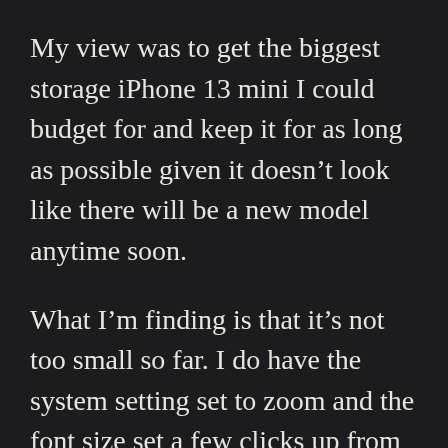My view was to get the biggest storage iPhone 13 mini I could budget for and keep it for as long as possible given it doesn't look like there will be a new model anytime soon.
What I'm finding is that it's not too small so far. I do have the system setting set to zoom and the font size set a few clicks up from standard and for my use it's working out ok. I'm having to adjust coming from a 6.1" screen but I'm also using my phone less. If I'm at home I'll use my iPad Mini or MacBook Air, I'm not really mindlessly scrolling social media on it. I use it for a camera, music